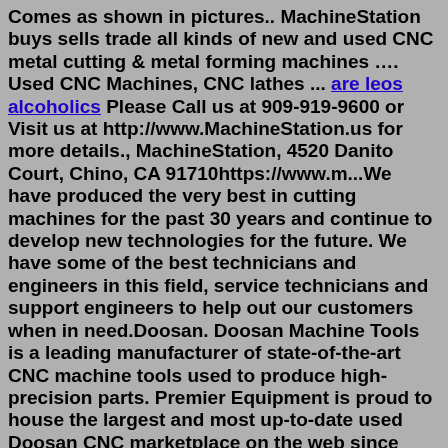Comes as shown in pictures.. MachineStation buys sells trade all kinds of new and used CNC metal cutting & metal forming machines …. Used CNC Machines, CNC lathes ... are leos alcoholics Please Call us at 909-919-9600 or Visit us at http://www.MachineStation.us for more details., MachineStation, 4520 Danito Court, Chino, CA 91710https://www.m...We have produced the very best in cutting machines for the past 30 years and continue to develop new technologies for the future. We have some of the best technicians and engineers in this field, service technicians and support engineers to help out our customers when in need.Doosan. Doosan Machine Tools is a leading manufacturer of state-of-the-art CNC machine tools used to produce high-precision parts. Premier Equipment is proud to house the largest and most up-to-date used Doosan CNC marketplace on the web since 1988. We look forward to helping you find the used Doosan machine that best suits your needs. Lynx Heli Innovation, your heli upgrades | August 24, 2022, 11:42 pm © Lynx Heli